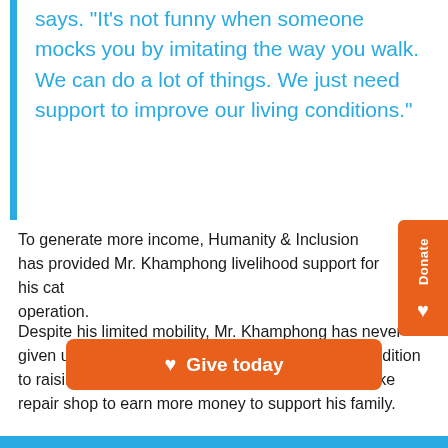says. "It's not funny when someone mocks you by imitating the way you walk. We can do a lot of things. We just need support to improve our living conditions."
To generate more income, Humanity & Inclusion has provided Mr. Khamphong livelihood support for his cattle operation.
Despite his limited mobility, Mr. Khamphong has never given up and works hard to support his family. In addition to raising cattle, he dreams of opening to a motorbike repair shop to earn more money to support his family.
Give today